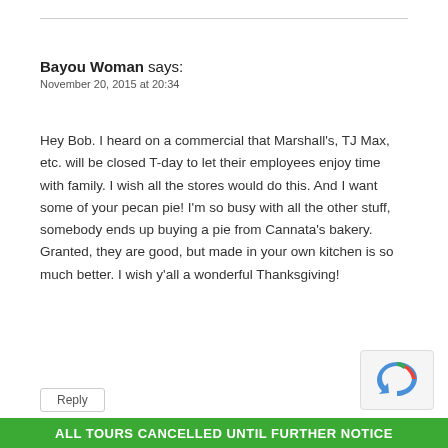Bayou Woman says:
November 20, 2015 at 20:34
Hey Bob. I heard on a commercial that Marshall’s, TJ Max, etc. will be closed T-day to let their employees enjoy time with family. I wish all the stores would do this. And I want some of your pecan pie! I’m so busy with all the other stuff, somebody ends up buying a pie from Cannata’s bakery. Granted, they are good, but made in your own kitchen is so much better. I wish y’all a wonderful Thanksgiving!
Reply
ALL TOURS CANCELLED UNTIL FURTHER NOTICE